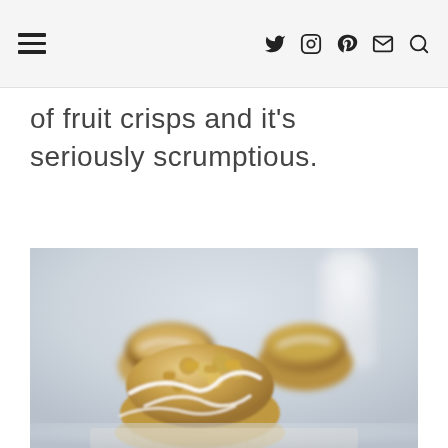Navigation bar with hamburger menu and social icons: Twitter, Instagram, Pinterest, Email, Search
of fruit crisps and it's seriously scrumptious.
[Figure (photo): Close-up photo of crumble-topped muffins with white glaze drizzle on a marble surface, with a blurred milk bottle in background]